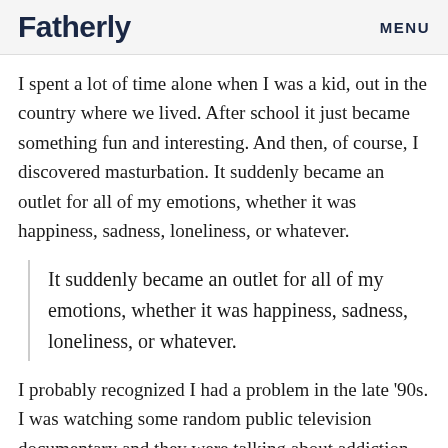Fatherly   MENU
I spent a lot of time alone when I was a kid, out in the country where we lived. After school it just became something fun and interesting. And then, of course, I discovered masturbation. It suddenly became an outlet for all of my emotions, whether it was happiness, sadness, loneliness, or whatever.
It suddenly became an outlet for all of my emotions, whether it was happiness, sadness, loneliness, or whatever.
I probably recognized I had a problem in the late '90s. I was watching some random public television documentary and they were talking about addiction